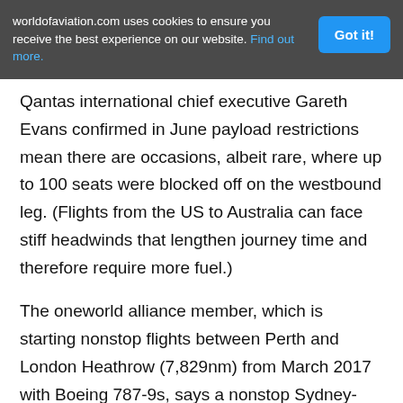worldofaviation.com uses cookies to ensure you receive the best experience on our website. Find out more.
Qantas international chief executive Gareth Evans confirmed in June payload restrictions mean there are occasions, albeit rare, where up to 100 seats were blocked off on the westbound leg. (Flights from the US to Australia can face stiff headwinds that lengthen journey time and therefore require more fuel.)
The oneworld alliance member, which is starting nonstop flights between Perth and London Heathrow (7,829nm) from March 2017 with Boeing 787-9s, says a nonstop Sydney-London Heathrow offering would cut four hours off the total travel time from the current one-stop routing.